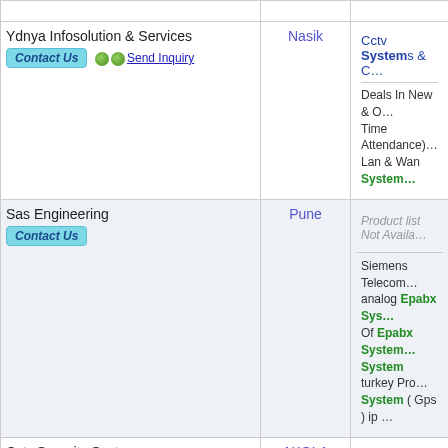| Company | City | Products/Description |
| --- | --- | --- |
| Ydnya Infosolution & Services | Nasik | Cctv Systems & C... | Deals In New & O... Time Attendance)... Lan & Wan System... |
| Sas Engineering | Pune | Product list Not Availa... | Siemens Telecom... analog Epabx Sys... Of Epabx System... System turkey Pro... System ( Gps ) ip ... |
| Cctv,Security System | AKOLA | Product list Not Availa... | Cctv Cameras, ... System, Video D... Locker.Ip Camera... Company. visiting... |
| Megga Enterprises | Pune | Fax Machine | V... Cameras | Telepho... | Sales Service & R... Telephones, Epa... Broadband Wiring... |
| Blue Bell Marketing |  | Authorised Dealer... |